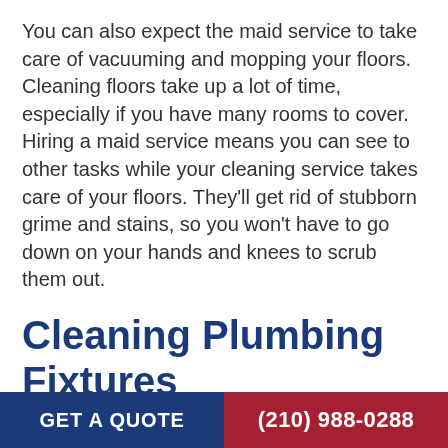You can also expect the maid service to take care of vacuuming and mopping your floors. Cleaning floors take up a lot of time, especially if you have many rooms to cover. Hiring a maid service means you can see to other tasks while your cleaning service takes care of your floors. They'll get rid of stubborn grime and stains, so you won't have to go down on your hands and knees to scrub them out.
Cleaning Plumbing Fixtures
Your maid service will also take care of your bathroom and plumbing fixtures. If you have little to no time to clean the bathroom, from the mirrors and toilet bowls to the floor, tub, and walls, your maid service can do this. Be sure to ask what their bathroom cleaning will
GET A QUOTE   (210) 988-0288